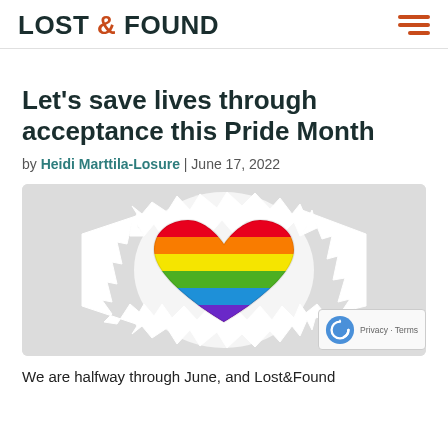LOST & FOUND
Let's save lives through acceptance this Pride Month
by Heidi Marttila-Losure | June 17, 2022
[Figure (photo): Rainbow pride heart tearing through white paper on a light gray background]
We are halfway through June, and Lost&Found